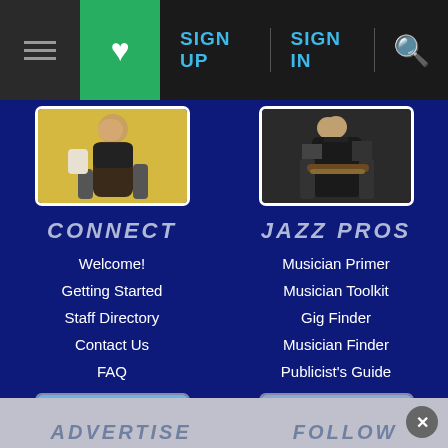SIGN UP | SIGN IN | Search
[Figure (photo): Person in jacket on yellow background]
CONNECT
Welcome!
Getting Started
Staff Directory
Contact Us
FAQ
[Figure (photo): Guitarist playing acoustic guitar]
JAZZ PROS
Musician Primer
Musician Toolkit
Gig Finder
Musician Finder
Publicist's Guide
[Figure (photo): Person with megaphone on grass]
[Figure (photo): Musician on stage with crowd]
ADVERTISE    FOLLOW